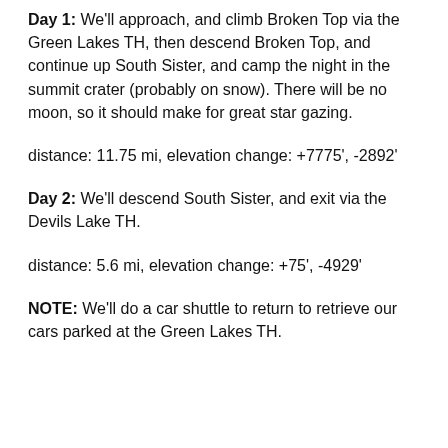Day 1: We'll approach, and climb Broken Top via the Green Lakes TH, then descend Broken Top, and continue up South Sister, and camp the night in the summit crater (probably on snow). There will be no moon, so it should make for great star gazing.
distance: 11.75 mi, elevation change: +7775', -2892'
Day 2: We'll descend South Sister, and exit via the Devils Lake TH.
distance: 5.6 mi, elevation change: +75', -4929'
NOTE: We'll do a car shuttle to return to retrieve our cars parked at the Green Lakes TH.